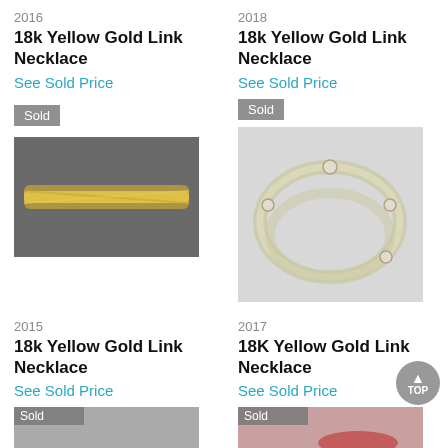2016
18k Yellow Gold Link Necklace
See Sold Price
2018
18k Yellow Gold Link Necklace
See Sold Price
[Figure (photo): Sold badge with photo of yellow gold rope chain necklace on dark background]
[Figure (photo): Sold badge with photo of 18k yellow gold link necklace arranged in circle on white background]
2015
18k Yellow Gold Link Necklace
See Sold Price
2017
18K Yellow Gold Link Necklace
See Sold Price
[Figure (photo): Sold badge with partial photo of jewelry item]
[Figure (photo): Sold badge with partial photo of red jewelry item]